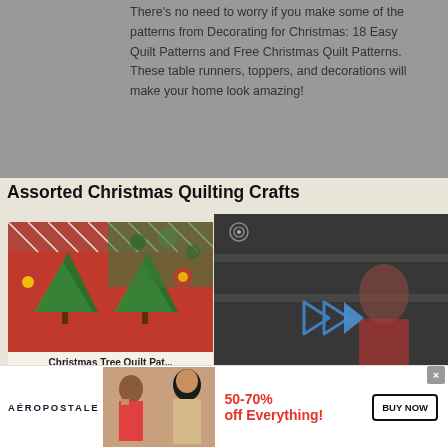There's no need to worry if you make some of the patterns from Decorating for Christmas: 18 Easy Quilt Patterns and Free Christmas Quilt Patterns. These table runners, toppers, and decorations will make your home look amazing!
Assorted Christmas Quilting Crafts
[Figure (photo): Christmas Tree Quilt Pattern image with red and green quilt fabrics, branded PAVEQUILTS]
[Figure (screenshot): Video overlay with play button, signal/radar icon, and mute button over a background showing a person in a craft room]
[Figure (photo): Aeropostale advertisement banner with two female models, bold text '50-70% off Everything!' in red and a 'BUY NOW' button]